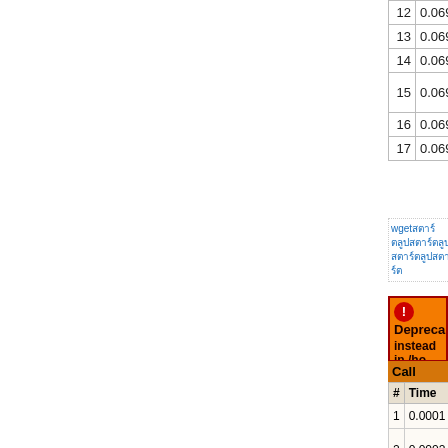| # | Time | Mem |
| --- | --- | --- |
| 12 | 0.0693 | 756 |
| 13 | 0.0693 | 756 |
| 14 | 0.0694 | 756 |
| 15 | 0.0694 | 756 |
| 16 | 0.0694 | 756 |
| 17 | 0.0695 | 756 |
wget… (link text in Thai/Unicode)
Deprecated: …instead in /home/… 446
| # | Time | Mem |
| --- | --- | --- |
| 1 | 0.0001 | 22 |
| 2 | 0.0002 | 22 |